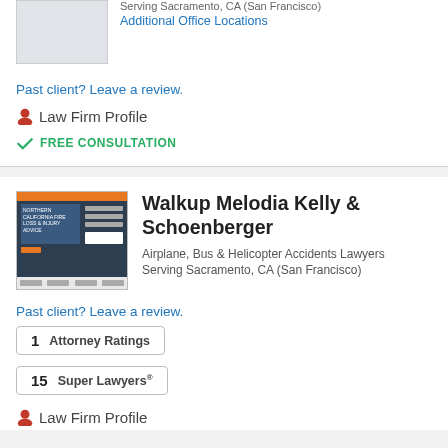[Figure (screenshot): Partial law firm website screenshot thumbnail (top of card, cropped)]
Serving Sacramento, CA (San Francisco)
Additional Office Locations
Past client? Leave a review.
Law Firm Profile
FREE CONSULTATION
[Figure (screenshot): Walkup Melodia Kelly & Schoenberger law firm website screenshot thumbnail]
Walkup Melodia Kelly & Schoenberger
Airplane, Bus & Helicopter Accidents Lawyers
Serving Sacramento, CA (San Francisco)
Past client? Leave a review.
1  Attorney Ratings
15  Super Lawyers®
Law Firm Profile